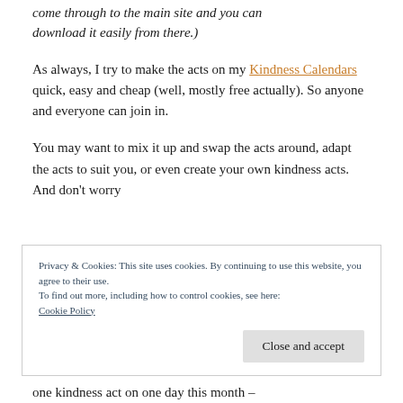come through to the main site and you can download it easily from there.)
As always, I try to make the acts on my Kindness Calendars quick, easy and cheap (well, mostly free actually). So anyone and everyone can join in.
You may want to mix it up and swap the acts around, adapt the acts to suit you, or even create your own kindness acts. And don't worry
Privacy & Cookies: This site uses cookies. By continuing to use this website, you agree to their use.
To find out more, including how to control cookies, see here:
Cookie Policy
one kindness act on one day this month –